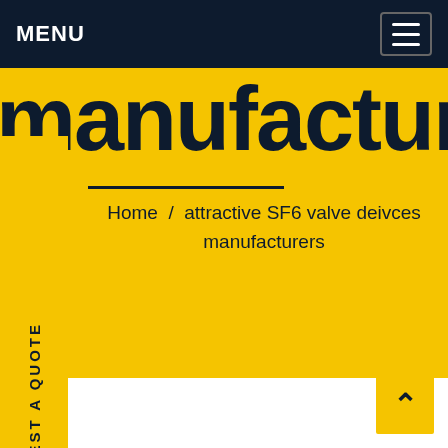MENU
manufacturers
Home / attractive SF6 valve deivces manufacturers
REQUEST A QUOTE